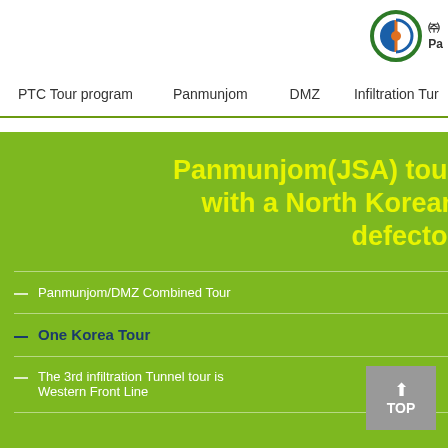[Figure (logo): Circular logo with green outer ring, blue and orange inner elements, with Korean character and 'Pa' text to the right]
PTC Tour program   Panmunjom   DMZ   Infiltration Tun
Panmunjom(JSA) tour with a North Korean defector
Panmunjom/DMZ Combined Tour
One Korea Tour
The 3rd infiltration Tunnel tour is Western Front Line